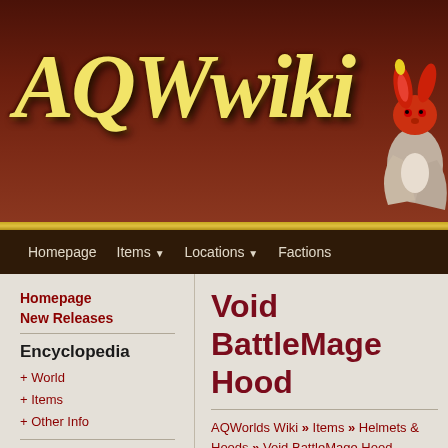[Figure (illustration): AQWwiki website header banner with dark brown/maroon background, gold stylized 'AQWwiki' logo text in italic, and a red rabbit/creature mascot illustration in the top right corner]
Homepage   Items ▼   Locations ▼   Factions
Homepage
New Releases
Encyclopedia
+ World
+ Items
+ Other Info
Tools
Join this Site
Site Members
Tribute Wall
Void BattleMage Hood
AQWorlds Wiki » Items » Helmets & Hoods » Void BattleMage Hood
[Figure (logo): AC logo in orange italic serif font]